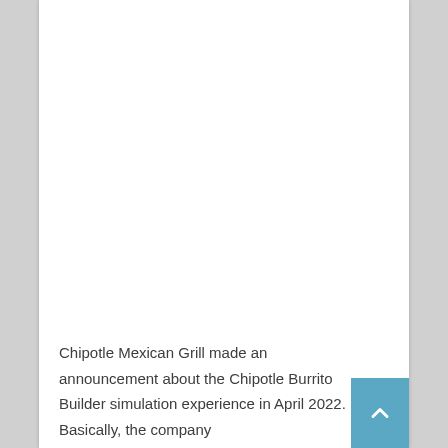Chipotle Mexican Grill made an announcement about the Chipotle Burrito Builder simulation experience in April 2022. Basically, the company